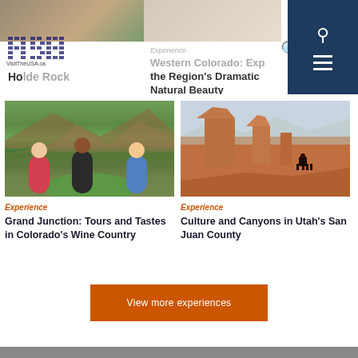[Figure (screenshot): Website navigation header for VisitTheUSA.ca with logo, partially visible top images, search icon, and dark navy hamburger menu panel]
Experience
Western Colorado: Exp the Region's Dramatic Natural Beauty
[Figure (photo): Three women dining outdoors at a winery table with green vineyard and red rock landscape in background - Grand Junction Colorado wine country]
Experience
Grand Junction: Tours and Tastes in Colorado's Wine Country
[Figure (photo): Dramatic desert canyon landscape with buttes and mesas, lone horse and rider silhouetted on cliff edge - Monument Valley Utah San Juan County]
Experience
Culture and Canyons in Utah's San Juan County
View more experiences